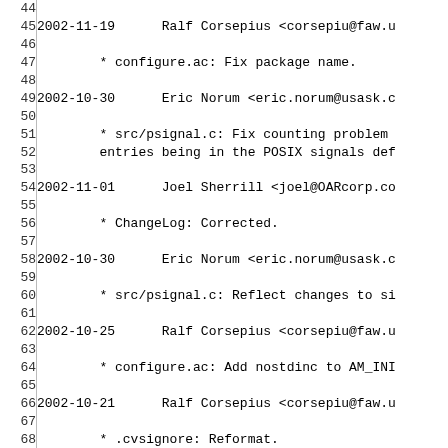44
45	2002-11-19	Ralf Corsepius <corsepiu@faw.u
46
47		* configure.ac: Fix package name.
48
49	2002-10-30	Eric Norum <eric.norum@usask.c
50
51		* src/psignal.c: Fix counting problem
52		entries being in the POSIX signals def
53
54	2002-11-01	Joel Sherrill <joel@OARcorp.co
55
56		* ChangeLog: Corrected.
57
58	2002-10-30	Eric Norum <eric.norum@usask.c
59
60		* src/psignal.c: Reflect changes to si
61
62	2002-10-25	Ralf Corsepius <corsepiu@faw.u
63
64		* configure.ac: Add nostdinc to AM_INI
65
66	2002-10-21	Ralf Corsepius <corsepiu@faw.u
67
68		* .cvsignore: Reformat.
69		Add autom4te*cache.
70		Remove autom4te.cache.
71
72	2002-09-14	Joel Sherrill <joel@OARcorp.co
73